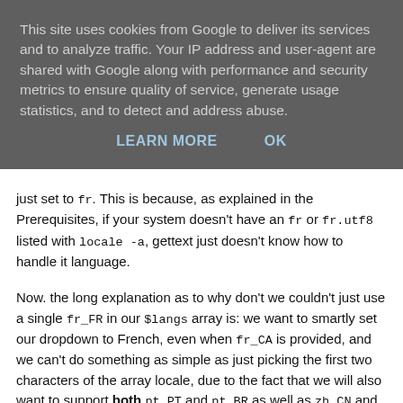This site uses cookies from Google to deliver its services and to analyze traffic. Your IP address and user-agent are shared with Google along with performance and security metrics to ensure quality of service, generate usage statistics, and to detect and address abuse.
LEARN MORE   OK
just set to fr. This is because, as explained in the Prerequisites, if your system doesn't have an fr or fr.utf8 listed with locale -a, gettext just doesn't know how to handle it language.
Now. the long explanation as to why don't we couldn't just use a single fr_FR in our $langs array is: we want to smartly set our dropdown to French, even when fr_CA is provided, and we can't do something as simple as just picking the first two characters of the array locale, due to the fact that we will also want to support both pt_PT and pt_BR as well as zh_CN and zh_TW, as separate languages (because that's pretty much what they are). So, if we were to just try to isolate the substring up to the underscore, then if we had zh_CN